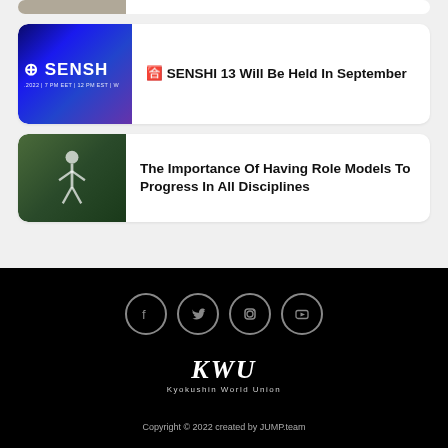[Figure (screenshot): Partial card showing an image at the top of the page (cropped)]
🈴 SENSHI 13 Will Be Held In September
The Importance Of Having Role Models To Progress In All Disciplines
[Figure (other): Social media icons: Facebook, Twitter, Instagram, YouTube]
[Figure (logo): KWU Kyokushin World Union logo]
Copyright © 2022 created by JUMP.team